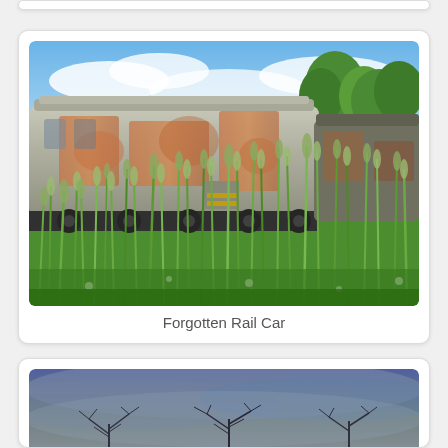[Figure (photo): Abandoned rusty train rail car surrounded by tall green grass and wildflowers, with trees and blue sky in background]
Forgotten Rail Car
[Figure (photo): Dark moody sky with bare tree silhouettes visible through fog or rain]